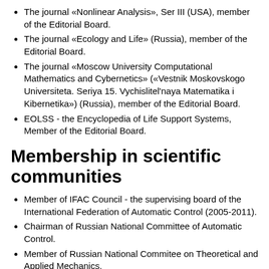The journal «Nonlinear Analysis», Ser III (USA), member of the Editorial Board.
The journal «Ecology and Life» (Russia), member of the Editorial Board.
The journal «Moscow University Computational Mathematics and Cybernetics» («Vestnik Moskovskogo Universiteta. Seriya 15. Vychislitel'naya Matematika i Kibernetika») (Russia), member of the Editorial Board.
EOLSS - the Encyclopedia of Life Support Systems, Member of the Editorial Board.
Membership in scientific communities
Member of IFAC Council - the supervising board of the International Federation of Automatic Control (2005-2011).
Chairman of Russian National Committee of Automatic Control.
Member of Russian National Commitee on Theoretical and Applied Mechanics.
Member of Committee of System Analysis at the